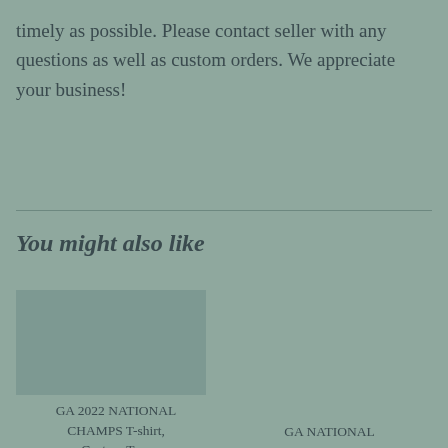timely as possible. Please contact seller with any questions as well as custom orders. We appreciate your business!
You might also like
GA 2022 NATIONAL CHAMPS T-shirt, Custom Tees
From $19.48
GA NATIONAL